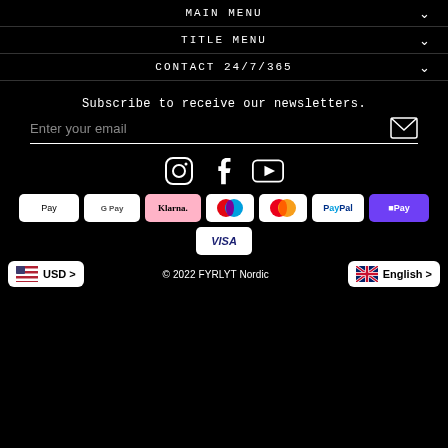MAIN MENU
TITLE MENU
CONTACT 24/7/365
Subscribe to receive our newsletters.
Enter your email
[Figure (other): Social media icons: Instagram, Facebook, YouTube]
[Figure (other): Payment method badges: Apple Pay, Google Pay, Klarna, Maestro, Mastercard, PayPal, OPay, Visa]
© 2022 FYRLYT Nordic
USD >
English >